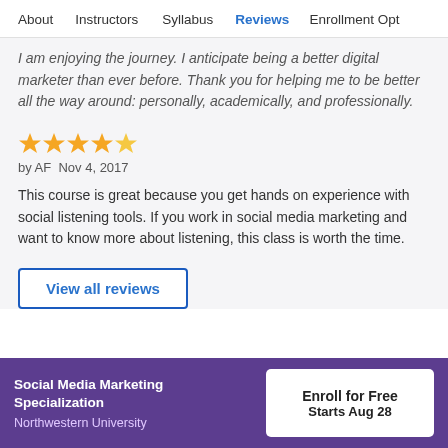About   Instructors   Syllabus   Reviews   Enrollment Opt
I am enjoying the journey. I anticipate being a better digital marketer than ever before. Thank you for helping me to be better all the way around: personally, academically, and professionally.
[Figure (other): 4 yellow star rating icons]
by AF  Nov 4, 2017
This course is great because you get hands on experience with social listening tools. If you work in social media marketing and want to know more about listening, this class is worth the time.
View all reviews
Social Media Marketing Specialization
Northwestern University
Enroll for Free
Starts Aug 28